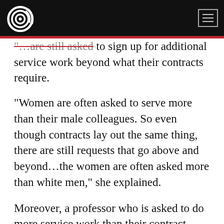[Logo] [Navigation menu button]
"...are still asked to sign up for additional service work beyond what their contracts require.
“Women are often asked to serve more than their male colleagues. So even though contracts lay out the same thing, there are still requests that go above and beyond…the women are often asked more than white men,” she explained.
Moreover, a professor who is asked to do more service work than their contract stipulates might be reluctant to decline, Portillo added, because of “where those requests are coming